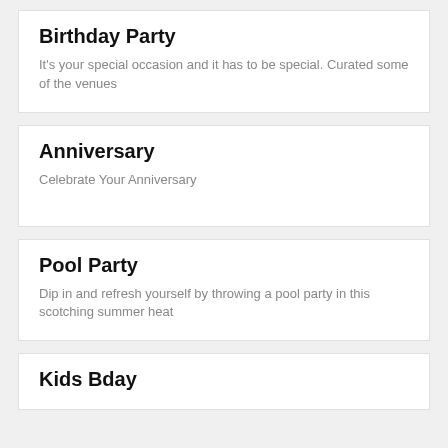Birthday Party
It's your special occasion and it has to be special. Curated some of the venues
Anniversary
Celebrate Your Anniversary
Pool Party
Dip in and refresh yourself by throwing a pool party in this scotching summer heat
Kids Bday